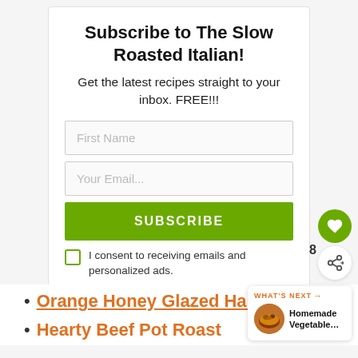Subscribe to The Slow Roasted Italian!
Get the latest recipes straight to your inbox. FREE!!!
First Name
Your Email...
SUBSCRIBE
I consent to receiving emails and personalized ads.
Orange Honey Glazed Ham
Hearty Beef Pot Roast